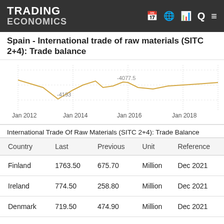TRADING ECONOMICS
Spain - International trade of raw materials (SITC 2+4): Trade balance
[Figure (continuous-plot): Line chart showing Spain International trade of raw materials (SITC 2+4) Trade balance over time from Jan 2012 to Jan 2018. Data labels visible: -4193 around Jan 2014, -4077.5 around Jan 2016.]
International Trade Of Raw Materials (SITC 2+4): Trade Balance
| Country | Last | Previous | Unit | Reference |
| --- | --- | --- | --- | --- |
| Finland | 1763.50 | 675.70 | Million | Dec 2021 |
| Ireland | 774.50 | 258.80 | Million | Dec 2021 |
| Denmark | 719.50 | 474.90 | Million | Dec 2021 |
| Estonia | 687.20 | 569.40 | Million | Dec 2021 |